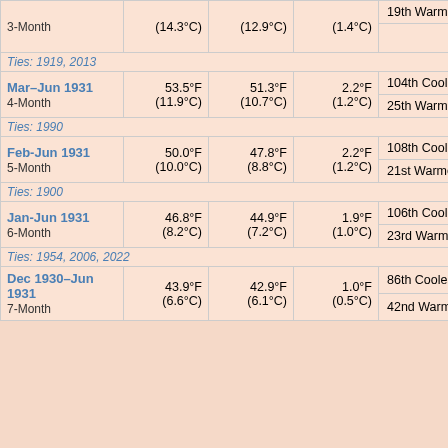| Period | Actual | Normal | Departure | Rank | Extra |
| --- | --- | --- | --- | --- | --- |
| 3-Month | (14.3°C) | (12.9°C) | (1.4°C) | 19th Warmest | Wa |
| Ties: 1919, 2013 |  |  |  |  |  |
| Mar–Jun 1931 / 4-Month | 53.5°F (11.9°C) | 51.3°F (10.7°C) | 2.2°F (1.2°C) | 104th Coolest / 25th Warmest | Coo / Wa |
| Ties: 1990 |  |  |  |  |  |
| Feb-Jun 1931 / 5-Month | 50.0°F (10.0°C) | 47.8°F (8.8°C) | 2.2°F (1.2°C) | 108th Coolest / 21st Warmest | Coo / Wa |
| Ties: 1900 |  |  |  |  |  |
| Jan-Jun 1931 / 6-Month | 46.8°F (8.2°C) | 44.9°F (7.2°C) | 1.9°F (1.0°C) | 106th Coolest / 23rd Warmest | Coo / Wa |
| Ties: 1954, 2006, 2022 |  |  |  |  |  |
| Dec 1930–Jun 1931 / 7-Month | 43.9°F (6.6°C) | 42.9°F (6.1°C) | 1.0°F (0.5°C) | 86th Coolest / 42nd Warmest | Coo / Wa |